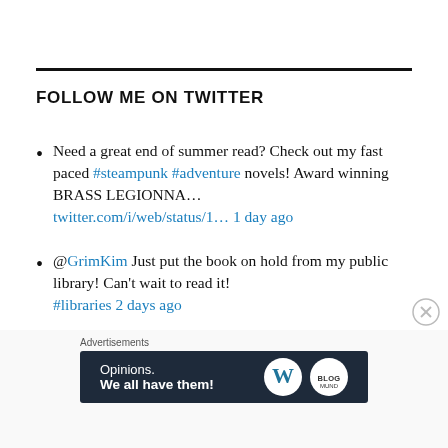FOLLOW ME ON TWITTER
Need a great end of summer read? Check out my fast paced #steampunk #adventure novels! Award winning BRASS LEGIONNA… twitter.com/i/web/status/1… 1 day ago
@GrimKim Just put the book on hold from my public library! Can't wait to read it! #libraries 2 days ago
Advertisements
[Figure (screenshot): WordPress advertisement banner: 'Opinions. We all have them!' with WordPress and another logo on dark navy background]